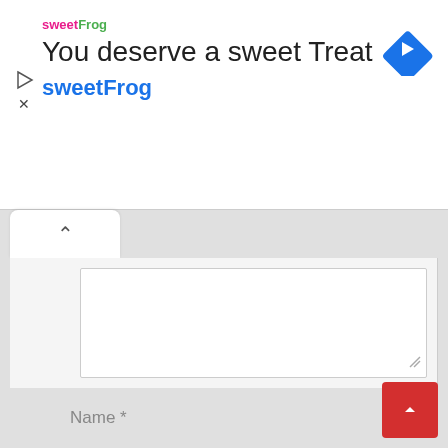[Figure (screenshot): Advertisement banner for sweetFrog frozen yogurt. Shows sweetFrog logo, text 'You deserve a sweet Treat', brand name 'sweetFrog' in blue, and a blue diamond navigation icon on the right. Left side has a play icon and X close icon.]
[Figure (screenshot): Web page UI showing a collapsed/expanded tab with an up-arrow chevron button, a large white textarea input field with a resize handle, a 'Name *' label at the bottom left, and a red scroll-to-top button at the bottom right.]